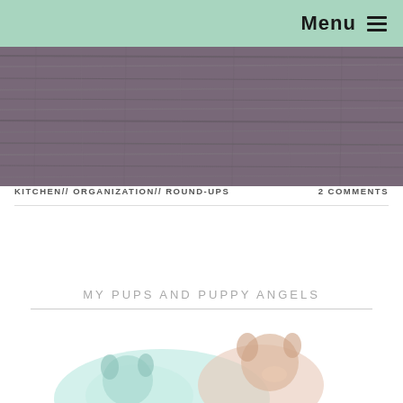Menu ☰
[Figure (photo): Dark grey wood grain texture background image]
KITCHEN// ORGANIZATION// ROUND-UPS    2 COMMENTS
MY PUPS AND PUPPY ANGELS
[Figure (illustration): Partial illustration of puppies or dogs, pastel colored, partially visible at bottom of page]